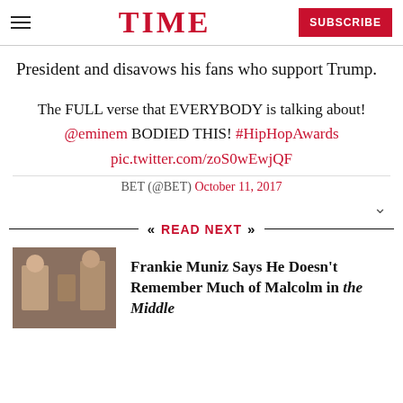TIME | SUBSCRIBE
President and disavows his fans who support Trump.
The FULL verse that EVERYBODY is talking about! @eminem BODIED THIS! #HipHopAwards pic.twitter.com/zoS0wEwjQF
BET (@BET) October 11, 2017
READ NEXT
Frankie Muniz Says He Doesn't Remember Much of Malcolm in the Middle